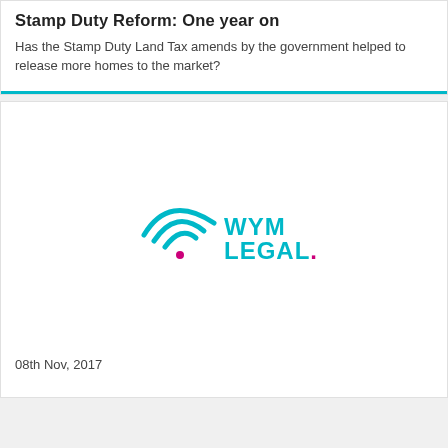Stamp Duty Reform: One year on
Has the Stamp Duty Land Tax amends by the government helped to release more homes to the market?
[Figure (logo): WYM Legal logo — teal wifi/arc symbol with a dot below and text WYM LEGAL. in teal with a magenta dot on the period]
08th Nov, 2017